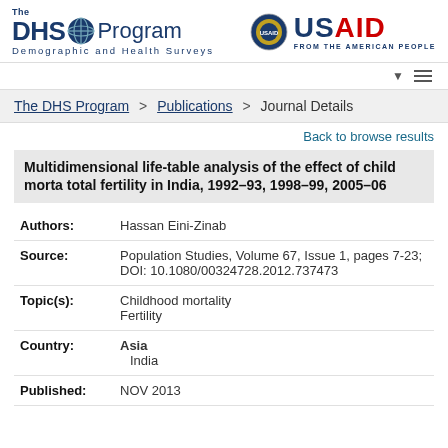[Figure (logo): The DHS Program logo with globe icon and tagline 'Demographic and Health Surveys']
[Figure (logo): USAID logo with seal and text 'FROM THE AMERICAN PEOPLE']
The DHS Program > Publications > Journal Details
Back to browse results
Multidimensional life-table analysis of the effect of child morta total fertility in India, 1992–93, 1998–99, 2005–06
| Authors: | Hassan Eini-Zinab |
| Source: | Population Studies, Volume 67, Issue 1, pages 7-23; DOI: 10.1080/00324728.2012.737473 |
| Topic(s): | Childhood mortality
Fertility |
| Country: | Asia
  India |
| Published: | NOV 2013 |